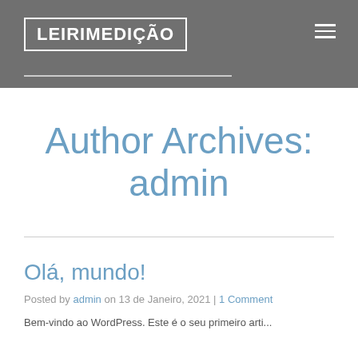LEIRIMEDIÇÃO
Author Archives: admin
Olá, mundo!
Posted by admin on 13 de Janeiro, 2021 | 1 Comment
Bem-vindo ao WordPress. Este é o seu primeiro artigo...